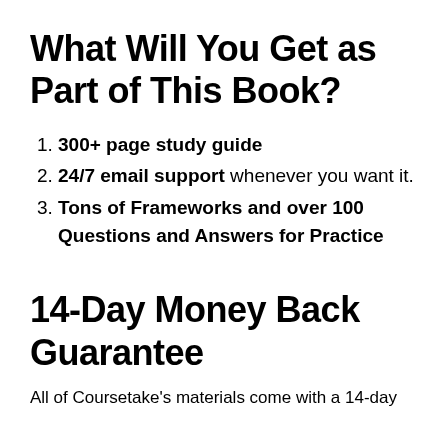What Will You Get as Part of This Book?
300+ page study guide
24/7 email support whenever you want it.
Tons of Frameworks and over 100 Questions and Answers for Practice
14-Day Money Back Guarantee
All of Coursetake's materials come with a 14-day